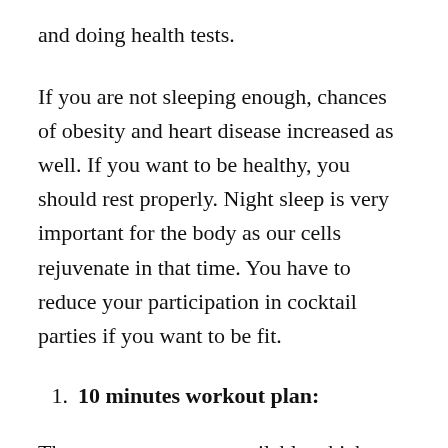and doing health tests.
If you are not sleeping enough, chances of obesity and heart disease increased as well. If you want to be healthy, you should rest properly. Night sleep is very important for the body as our cells rejuvenate in that time. You have to reduce your participation in cocktail parties if you want to be fit.
10 minutes workout plan:
There are many apps available which you can install in your cell phone for concise workout plans which you can follow at any part of the day. You just need 5 to 10 minutes for busy people to start the work done.